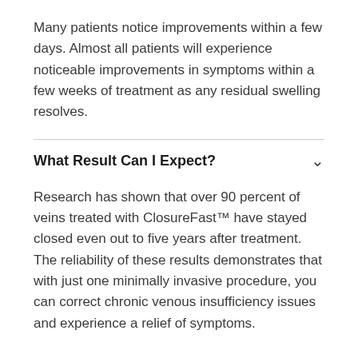Many patients notice improvements within a few days. Almost all patients will experience noticeable improvements in symptoms within a few weeks of treatment as any residual swelling resolves.
What Result Can I Expect?
Research has shown that over 90 percent of veins treated with ClosureFast™ have stayed closed even out to five years after treatment. The reliability of these results demonstrates that with just one minimally invasive procedure, you can correct chronic venous insufficiency issues and experience a relief of symptoms.